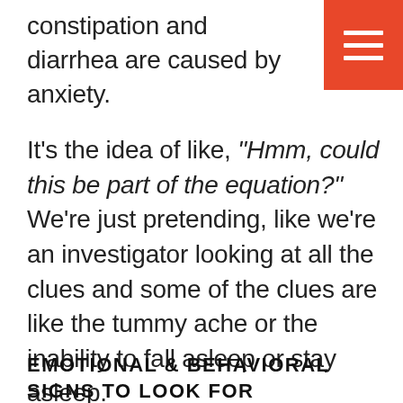constipation and diarrhea are caused by anxiety.
It’s the idea of like, “Hmm, could this be part of the equation?” We’re just pretending, like we’re an investigator looking at all the clues and some of the clues are like the tummy ache or the inability to fall asleep or stay asleep.
EMOTIONAL & BEHAVIORAL SIGNS TO LOOK FOR